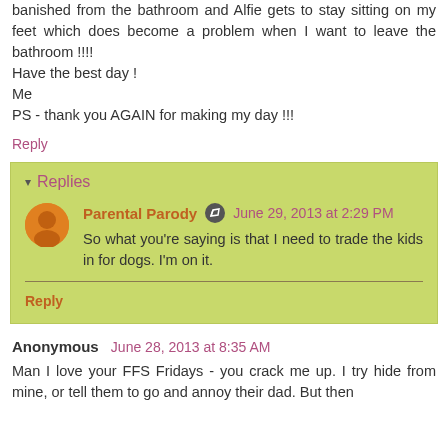banished from the bathroom and Alfie gets to stay sitting on my feet which does become a problem when I want to leave the bathroom !!!!
Have the best day !
Me
PS - thank you AGAIN for making my day !!!
Reply
Replies
Parental Parody  June 29, 2013 at 2:29 PM
So what you're saying is that I need to trade the kids in for dogs. I'm on it.
Reply
Anonymous  June 28, 2013 at 8:35 AM
Man I love your FFS Fridays - you crack me up. I try hide from mine, or tell them to go and annoy their dad. But then